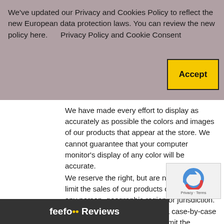We've updated our Privacy and Cookies Policy to reflect the new European data protection laws. You can review the new policy here.      Privacy Policy and Cookie Consent
[Figure (other): Yellow Accept button for cookie consent]
We have made every effort to display as accurately as possible the colors and images of our products that appear at the store. We cannot guarantee that your computer monitor's display of any color will be accurate.
We reserve the right, but are not obligated, to limit the sales of our products or Services to any person, geographic region or jurisdiction. We may exercise this right on a case-by-case basis. We reserve the right to limit the quantities of any products or services that we offer. All descriptions of products or product pricing are subject to change at anytime without notice, at the sole discretion of us. We reserve the right to discontinue any product or offer for any product or ... void
[Figure (logo): Feefo Reviews bar at bottom]
[Figure (logo): reCAPTCHA logo overlay bottom right]